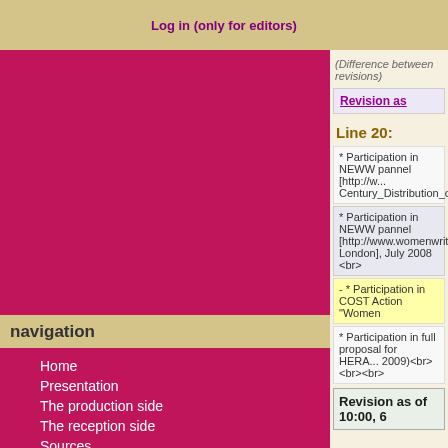Log in (only for editors)
navigation
Home
Presentation
The production side
The reception side
Sources
Database
WomenWriters
Bibliography
Conferences and other activities
Portraits of Authors
Participants
Project publications
Project news
NEWWsletters
NEWW List
(Difference between revisions)
Revision as
Line 20:
* Participation in NEWW pannel [http://w... Century_Distribution_of_English_Litera...
* Participation in NEWW pannel [http://www.womenwriters.nl/index.php/b... London], July 2008 <br>
- * Participation in COST Action "Women
* Participation in full proposal for HERA... 2009)<br><br><br>
Revision as of 10:00, 6